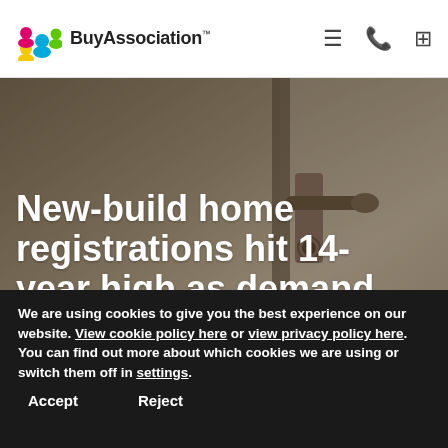BuyAssociation
[Figure (photo): Close-up photo of a door handle/lock mechanism with muted brown and beige tones serving as hero image background]
New-build home registrations hit 14-year high as demand surges
We are using cookies to give you the best experience on our website. View cookie policy here or view privacy policy here. You can find out more about which cookies we are using or switch them off in settings.
Accept   Reject